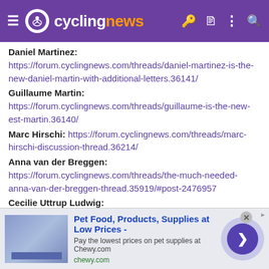cyclingnews
Daniel Martinez: https://forum.cyclingnews.com/threads/daniel-martinez-is-the-new-daniel-martin-with-additional-letters.36141/
Guillaume Martin: https://forum.cyclingnews.com/threads/guillaume-is-the-new-est-martin.36140/
Marc Hirschi: https://forum.cyclingnews.com/threads/marc-hirschi-discussion-thread.36214/
Anna van der Breggen: https://forum.cyclingnews.com/threads/the-much-needed-anna-van-der-breggen-thread.35919/#post-2476957
Cecilie Uttrup Ludwig: https://forum.cyclingnews.com/threads/cecilie-uttrup-ludwig-is-the-first-and-only-cille.36331/
Romain Sicard: https://forum.cyclingnews.com/threads/romains-sicard-and-cardis.36278/
Romain Cardis: https://forum.cyclingnews.com/threads/romains-sicard-and-cardis.36278/
[Figure (screenshot): Advertisement banner: Pet Food, Products, Supplies at Low Prices - chewy.com]